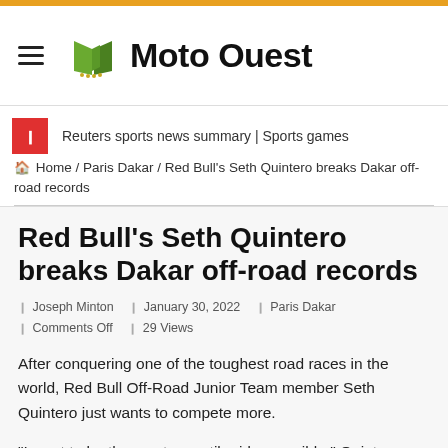Moto Ouest
Reuters sports news summary | Sports games
🏠 Home / Paris Dakar / Red Bull's Seth Quintero breaks Dakar off-road records
Red Bull's Seth Quintero breaks Dakar off-road records
Joseph Minton   January 30, 2022   Paris Dakar
Comments Off   29 Views
After conquering one of the toughest road races in the world, Red Bull Off-Road Junior Team member Seth Quintero just wants to compete more.
“I want to be the most versatile rider possible,” Quintero said.